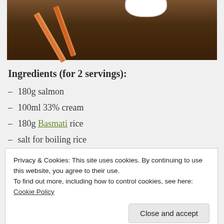[Figure (photo): Food photo showing chopsticks on a dark wooden surface with a white bowl in the background]
Ingredients (for 2 servings):
– 180g salmon
– 100ml 33% cream
– 180g Basmati rice
– salt for boiling rice
– 1/2 tbsp olive oil for frying
Serving ingredients:
Privacy & Cookies: This site uses cookies. By continuing to use this website, you agree to their use.
To find out more, including how to control cookies, see here:
Cookie Policy
1 Grate Parmesan into a bowl and put in the